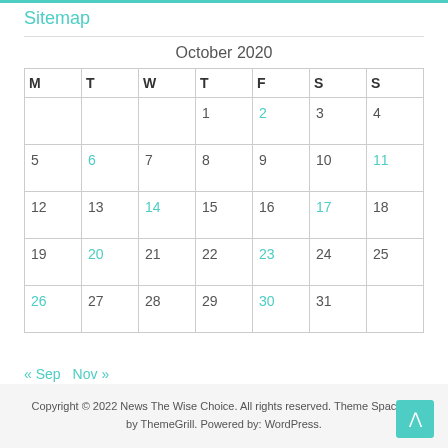Sitemap
| M | T | W | T | F | S | S |
| --- | --- | --- | --- | --- | --- | --- |
|  |  |  | 1 | 2 | 3 | 4 |
| 5 | 6 | 7 | 8 | 9 | 10 | 11 |
| 12 | 13 | 14 | 15 | 16 | 17 | 18 |
| 19 | 20 | 21 | 22 | 23 | 24 | 25 |
| 26 | 27 | 28 | 29 | 30 | 31 |  |
« Sep   Nov »
Copyright © 2022 News The Wise Choice. All rights reserved. Theme Spacious by ThemeGrill. Powered by: WordPress.